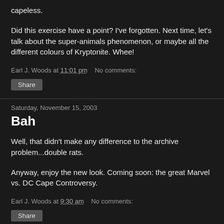capeless.
Did this exercise have a point? I've forgotten. Next time, let's talk about the super-animals phenomenon, or maybe all the different colours of Kryptonite. Whee!
Earl J. Woods at 11:01 pm   No comments:
Share
Saturday, November 15, 2003
Bah
Well, that didn't make any difference to the archive problem...double rats.
Anyway, enjoy the new look. Coming soon: the great Marvel vs. DC Cape Controversy.
Earl J. Woods at 9:30 am   No comments:
Share